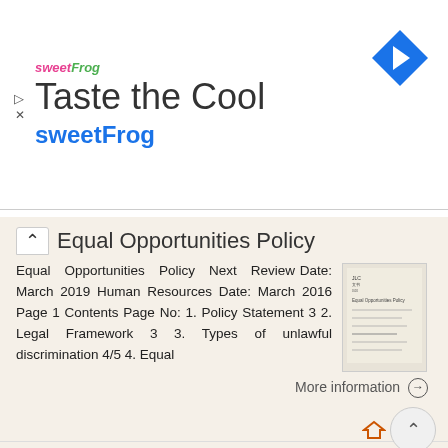[Figure (other): Advertisement banner for sweetFrog frozen yogurt: 'Taste the Cool' with sweetFrog logo and blue diamond arrow icon]
Equal Opportunities Policy
Equal Opportunities Policy Next Review Date: March 2019 Human Resources Date: March 2016 Page 1 Contents Page No: 1. Policy Statement 3 2. Legal Framework 3 3. Types of unlawful discrimination 4/5 4. Equal
More information →
APEX EQUALITY & DIVERSITY POLICY
Apex Diversity & Inclusion Statement Individuals with different cultures, perspectives and experiences are at the heart of the way Apex works. We want to recruit, develop and retain the most talented people,